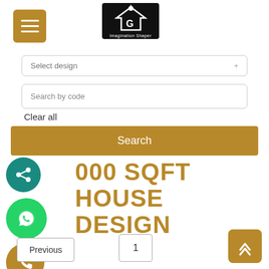[Figure (logo): Imagination Shaper logo with house/building icon on black background]
Select design
Search by code
Clear all
Search
000 SQFT HOUSE DESIGN
[Figure (illustration): Share icon circle (teal)]
[Figure (illustration): WhatsApp icon circle (green)]
[Figure (illustration): Phone icon circle (gold)]
Previous
1
[Figure (illustration): Up arrow button (gold background)]